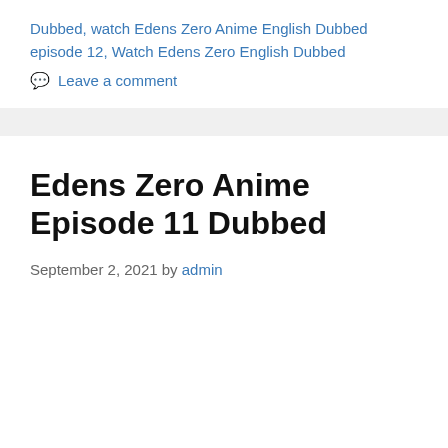Dubbed, watch Edens Zero Anime English Dubbed episode 12, Watch Edens Zero English Dubbed
Leave a comment
Edens Zero Anime Episode 11 Dubbed
September 2, 2021 by admin